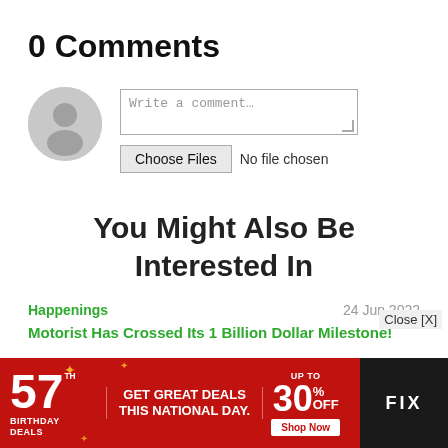0 Comments
[Figure (illustration): Grey circular avatar placeholder icon showing a silhouette of a person]
Write a comment…
Choose Files  No file chosen
You Might Also Be Interested In
Happenings
24 Jun 2022
Motorist Has Crossed Its 1 Billion Dollar Milestone!
Close [X]
[Figure (infographic): Red advertisement banner: 57th Birthday Deals - GET GREAT DEALS THIS NATIONAL DAY. UP TO 30% OFF. Shop Now. FIX product image on right.]